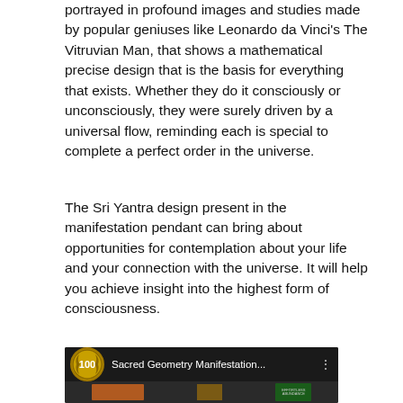portrayed in profound images and studies made by popular geniuses like Leonardo da Vinci's The Vitruvian Man, that shows a mathematical precise design that is the basis for everything that exists. Whether they do it consciously or unconsciously, they were surely driven by a universal flow, reminding each is special to complete a perfect order in the universe.
The Sri Yantra design present in the manifestation pendant can bring about opportunities for contemplation about your life and your connection with the universe. It will help you achieve insight into the highest form of consciousness.
[Figure (screenshot): A video thumbnail showing 'Sacred Geometry Manifestation...' with a gold badge showing '100', and content images including a pendant and a book titled 'Effortless Abundance' on a dark background.]